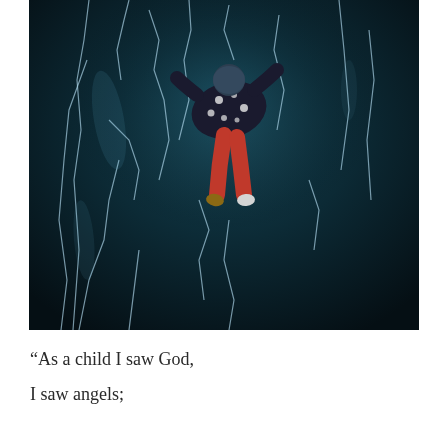[Figure (photo): Aerial/overhead photo of a child in a dark floral jacket and red pants lying or standing on cracked dark blue ice, viewed from above. The ice has white crack lines spreading across it.]
“As a child I saw God,
I saw angels;